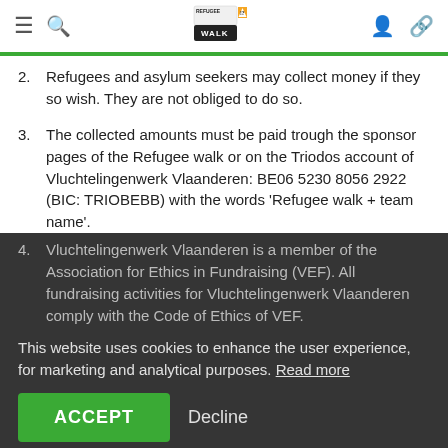Refugee Walk - navigation header
2. Refugees and asylum seekers may collect money if they so wish. They are not obliged to do so.
3. The collected amounts must be paid trough the sponsor pages of the Refugee walk or on the Triodos account of Vluchtelingenwerk Vlaanderen: BE06 5230 8056 2922 (BIC: TRIOBEBB) with the words 'Refugee walk + team name'.
4. Vluchtelingenwerk Vlaanderen is a member of the Association for Ethics in Fundraising (VEF). All fundraising activities for Vluchtelingenwerk Vlaanderen comply with the Code of Ethics of VEF.
This website uses cookies to enhance the user experience, for marketing and analytical purposes. Read more
5. If you make a donation of 40 euros on an annual basis, you are entitled to a tax certificate from Flanders Refugee Work. We will send it by post...